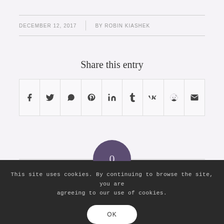DECEMBER 12, 2017 | BY ROBIN KIASHEK
Share this entry
[Figure (infographic): Social share icons row: Facebook, Twitter, WhatsApp, Pinterest, LinkedIn, Tumblr, VK, Reddit, Email]
[Figure (infographic): Purple circle with number 0 indicating comment count]
Leave a Reply
Want to join the discussion?
Feel free to contribute!
This site uses cookies. By continuing to browse the site, you are agreeing to our use of cookies.